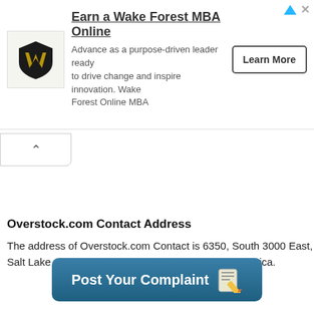[Figure (other): Wake Forest MBA advertisement banner with shield logo, headline 'Earn a Wake Forest MBA Online', description text, and 'Learn More' button]
[Figure (other): Collapse/accordion arrow button (chevron up) in a white rounded box]
Overstock.com Contact Address
The address of Overstock.com Contact is 6350, South 3000 East, Salt Lake City, UT-84121, Utah, United States of America.
[Figure (other): Blue rounded button labeled 'Post Your Complaint' with a notepad and pencil icon]